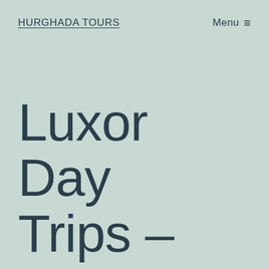HURGHADA TOURS
Menu ≡
Luxor Day Trips – Hurghada Excursions